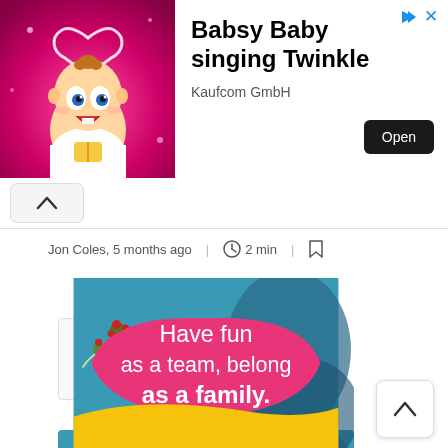[Figure (screenshot): Advertisement banner: Babsy Baby animated character (baby with heart halo) on pink sparkly background. Right side shows title 'Babsy Baby singing Twinkle', subtitle 'Kaufcom GmbH', and a dark 'Open' button. Top-right has small blue play and X icons.]
[Figure (screenshot): Navigation up-chevron button in a rounded rectangle box]
Jon Coles, 5 months ago   |   2 min   |
[Figure (screenshot): Image thumbnail box with left and right arrow navigation buttons]
[Figure (illustration): Promotional illustration: pink blob shape with text 'Have fun as a team, belong as a family.' on colorful teal/blue background with decorative floral elements and yellow swoosh at bottom]
[Figure (screenshot): Scroll-to-top button (up chevron in white rounded square) at bottom right]